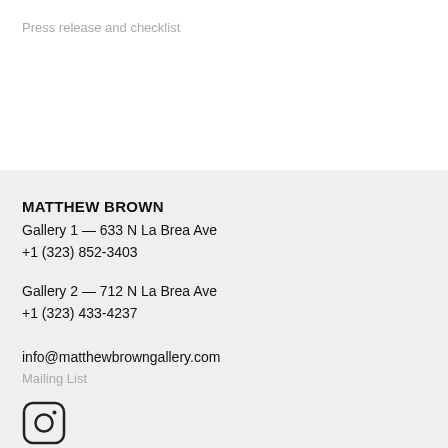Press release and checklist
MATTHEW BROWN
Gallery 1 — 633 N La Brea Ave
+1 (323) 852-3403
Gallery 2 — 712 N La Brea Ave
+1 (323) 433-4237
info@matthewbrowngallery.com
Mailing List
[Figure (logo): Instagram logo icon — rounded square with camera outline]